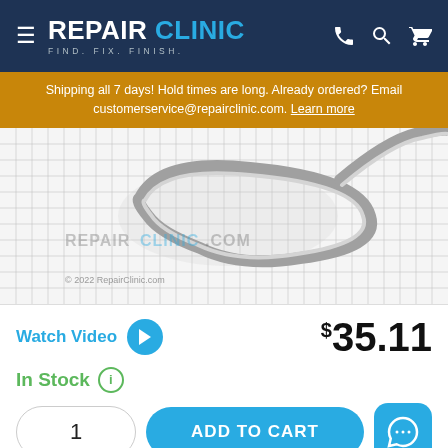REPAIR CLINIC — FIND. FIX. FINISH.
Shipping all 7 days! Hold times are long. Already ordered? Email customerservice@repairclinic.com. Learn more
[Figure (photo): Product image of a gray rubber belt/hose coiled in a loop on a white grid background, watermarked with REPAIRCLINIC.COM and © 2022 RepairClinic.com]
Watch Video
$35.11
In Stock
1
ADD TO CART